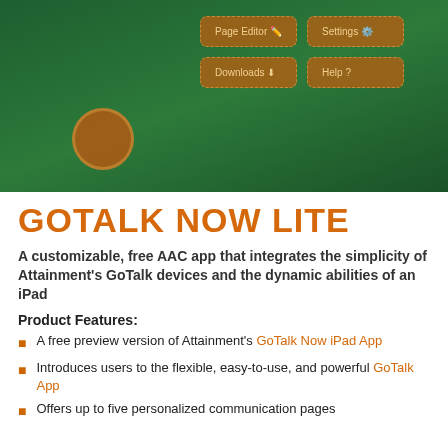[Figure (screenshot): Screenshot of GoTalk Now app interface showing menu buttons: Page Editor, Settings, Downloads, Help on a dark green background with a round orange logo icon]
GOTALK NOW LITE
A customizable, free AAC app that integrates the simplicity of Attainment's GoTalk devices and the dynamic abilities of an iPad
Product Features:
A free preview version of Attainment's GoTalk Now iPad App
Introduces users to the flexible, easy-to-use, and powerful GoTalk App
Offers up to five personalized communication pages